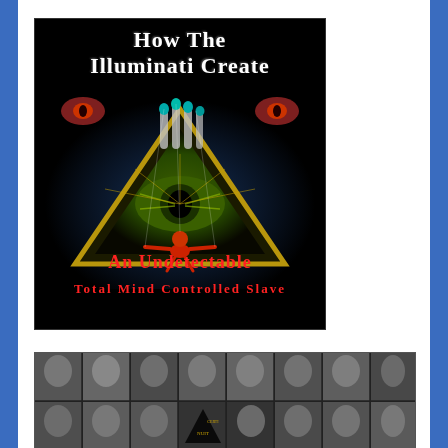[Figure (illustration): Book cover: 'How The Illuminati Create An Undetectable Total Mind Controlled Slave' — black background with an all-seeing eye pyramid, demonic eyes in upper corners, a puppet-like figure below, and red/white bold serif text titles.]
[Figure (photo): A strip collage of black-and-white portrait photographs of various people arranged in a grid, with an Illuminati/pyramid seal visible at center bottom.]